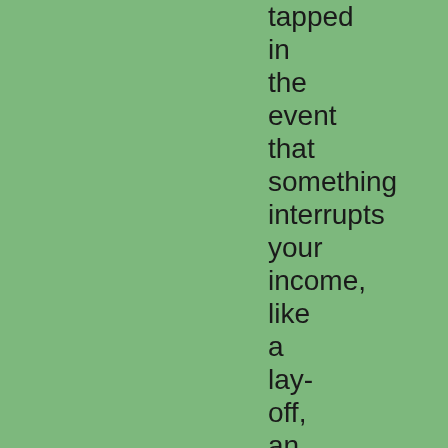tapped in the event that something interrupts your income, like a lay-off, an accident or illness. If you have ample assets